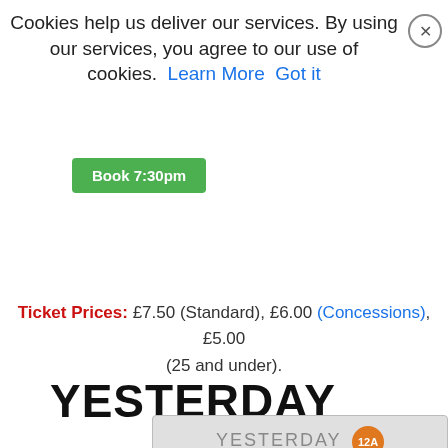Cookies help us deliver our services. By using our services, you agree to our use of cookies. Learn More  Got it
[Figure (screenshot): Green 'Book 7:30pm' button]
Ticket Prices: £7.50 (Standard), £6.00 (Concessions), £5.00 (25 and under).
YESTERDAY
[Figure (screenshot): Movie card showing YESTERDAY 12A rating, Thursday 15 August 2019 at 2.30pm (Subtitled) and]